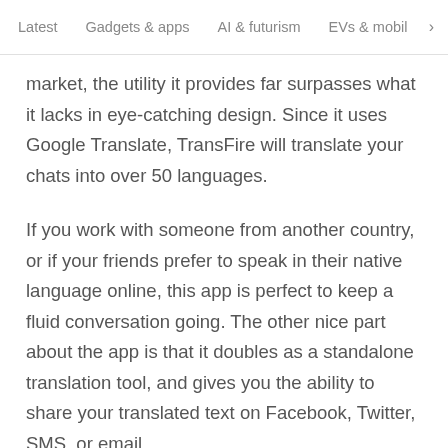Latest   Gadgets & apps   AI & futurism   EVs & mobil >
market, the utility it provides far surpasses what it lacks in eye-catching design. Since it uses Google Translate, TransFire will translate your chats into over 50 languages.
If you work with someone from another country, or if your friends prefer to speak in their native language online, this app is perfect to keep a fluid conversation going. The other nice part about the app is that it doubles as a standalone translation tool, and gives you the ability to share your translated text on Facebook, Twitter, SMS, or email.